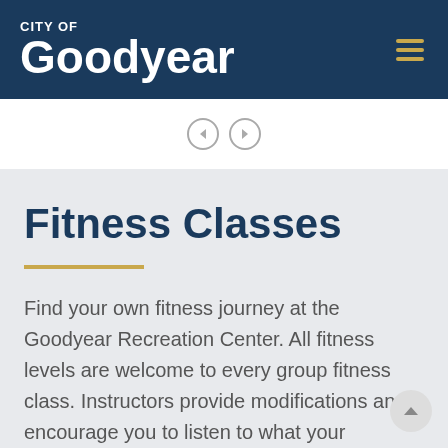City of Goodyear
[Figure (screenshot): Navigation arrows (back and forward) in gray circles]
Fitness Classes
Find your own fitness journey at the Goodyear Recreation Center. All fitness levels are welcome to every group fitness class. Instructors provide modifications and encourage you to listen to what your body is telling them.